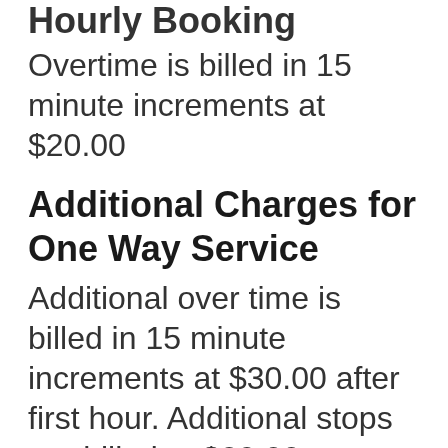Hourly Booking
Overtime is billed in 15 minute increments at $20.00
Additional Charges for One Way Service
Additional over time is billed in 15 minute increments at $30.00 after first hour. Additional stops are billed at $20.00 per stop. Higher rates may apply based on actual distance.